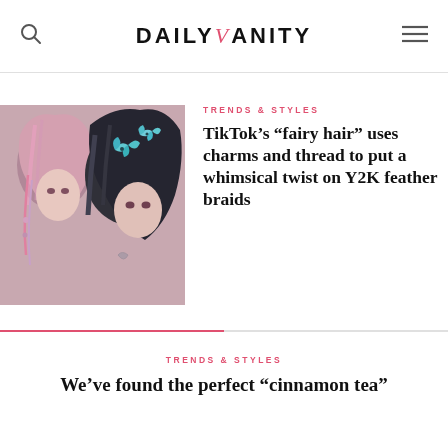DAILY VANITY
[Figure (photo): Two young women with decorative hair styles including fairy hair with charms, thread braids and butterfly hair clips]
TRENDS & STYLES
TikTok’s “fairy hair” uses charms and thread to put a whimsical twist on Y2K feather braids
TRENDS & STYLES
We’ve found the perfect “cinnamon tea”